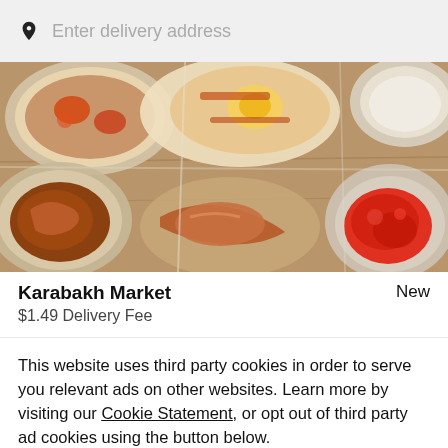Enter delivery address
[Figure (photo): Overhead photo of various food dishes including bowls with sauces, flatbreads, and stew-like dishes on a wooden surface]
Karabakh Market
New
$1.49 Delivery Fee
This website uses third party cookies in order to serve you relevant ads on other websites. Learn more by visiting our Cookie Statement, or opt out of third party ad cookies using the button below.
Opt out
Got it